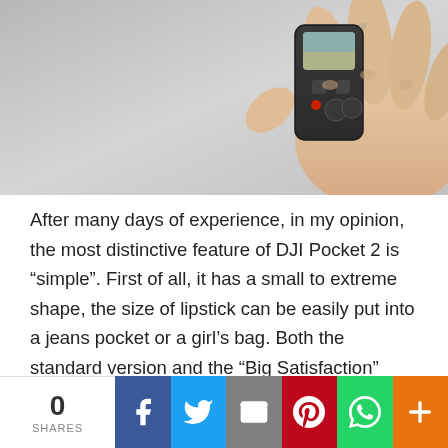[Figure (photo): A hand holding a small DJI Pocket 2 camera device against a light gray background. The device is compact and dark-colored with a small screen and buttons visible.]
After many days of experience, in my opinion, the most distinctive feature of DJI Pocket 2 is “simple”. First of all, it has a small to extreme shape, the size of lipstick can be easily put into a jeans pocket or a girl’s bag. Both the standard version and the “Big Satisfaction” version are equipped with a protective case that is not only protective, it can help store
0 SHARES | Facebook | Twitter | Email | Pinterest | WhatsApp | More